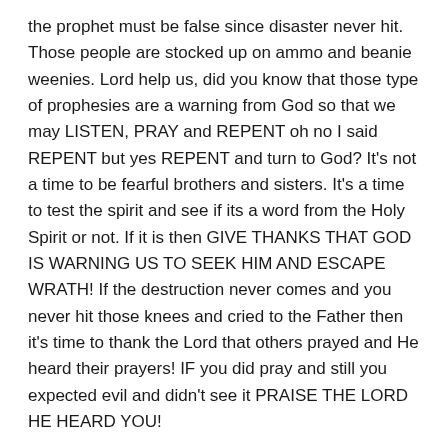the prophet must be false since disaster never hit. Those people are stocked up on ammo and beanie weenies. Lord help us, did you know that those type of prophesies are a warning from God so that we may LISTEN, PRAY and REPENT oh no I said REPENT but yes REPENT and turn to God? It's not a time to be fearful brothers and sisters. It's a time to test the spirit and see if its a word from the Holy Spirit or not. If it is then GIVE THANKS THAT GOD IS WARNING US TO SEEK HIM AND ESCAPE WRATH! If the destruction never comes and you never hit those knees and cried to the Father then it's time to thank the Lord that others prayed and He heard their prayers! IF you did pray and still you expected evil and didn't see it PRAISE THE LORD HE HEARD YOU!
A message for those who have operated in the Apostolic anointing for years or just learning they have been called...